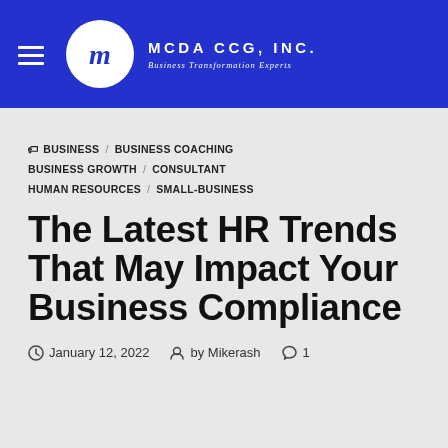MCDA CCG, INC. — Business Transformation Experts
BUSINESS  BUSINESS COACHING  BUSINESS GROWTH  CONSULTANT  HUMAN RESOURCES  SMALL-BUSINESS
The Latest HR Trends That May Impact Your Business Compliance
January 12, 2022  by Mikerash  1